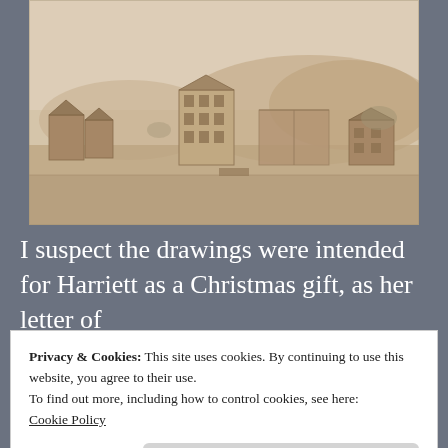[Figure (illustration): Historical pencil/ink sketch of an industrial or town scene with buildings, a large central multi-storey house, hills in the background, and water or fields in the foreground. Sepia/brown toned aged drawing.]
I suspect the drawings were intended for Harriett as a Christmas gift, as her letter of
Privacy & Cookies: This site uses cookies. By continuing to use this website, you agree to their use.
To find out more, including how to control cookies, see here:
Cookie Policy
Close and accept
Inkstand. The drawings I must acknowledge I am